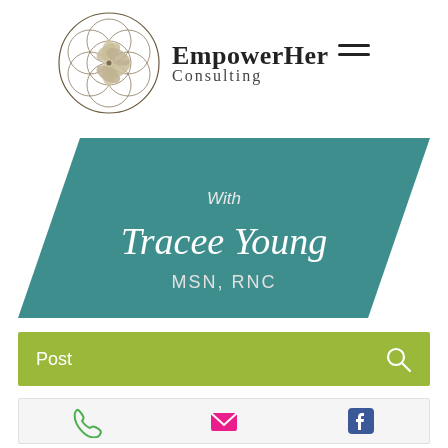[Figure (logo): EmpowerHer Consulting logo with geometric flower of life circle pattern and text 'EmpowerHer Consulting']
[Figure (illustration): Teal parallelogram/rhombus banner with text 'With Tracee Young MSN, RNC']
Post
[Figure (infographic): Bottom contact bar with phone, email/envelope, and Facebook icons]